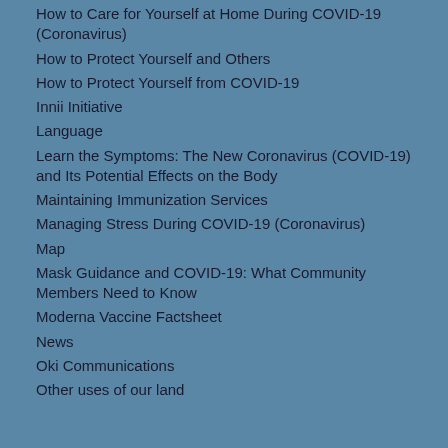How to Care for Yourself at Home During COVID-19 (Coronavirus)
How to Protect Yourself and Others
How to Protect Yourself from COVID-19
Innii Initiative
Language
Learn the Symptoms: The New Coronavirus (COVID-19) and Its Potential Effects on the Body
Maintaining Immunization Services
Managing Stress During COVID-19 (Coronavirus)
Map
Mask Guidance and COVID-19: What Community Members Need to Know
Moderna Vaccine Factsheet
News
Oki Communications
Other uses of our land